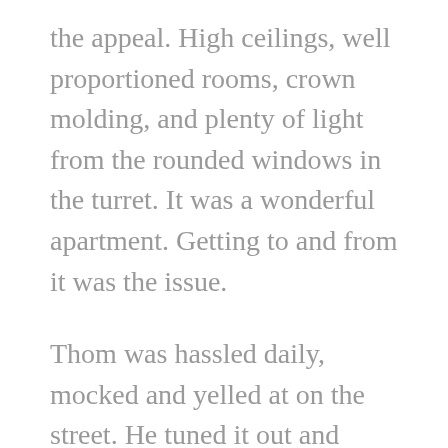the appeal. High ceilings, well proportioned rooms, crown molding, and plenty of light from the rounded windows in the turret. It was a wonderful apartment. Getting to and from it was the issue.
Thom was hassled daily, mocked and yelled at on the street. He tuned it out and thrived on the neighborhood telling me he once bought some crack and smoked it with a guy in an alley. He just wanted to see what all the fuss was about.  (And no, he did not become an addict.)
One night walking home after the bar closed he was mugged. They took everything on him and